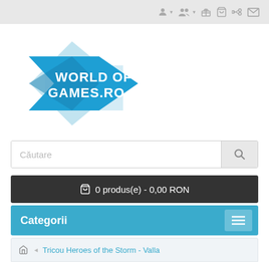Toolbar with icons: user, group, gift, cart, share, mail
[Figure (logo): World of Games.ro logo - blue geometric star/arrow shapes with white text WORLD OF GAMES.RO]
Căutare
🛒 0 produs(e) - 0,00 RON
Categorii
🏠 Tricou Heroes of the Storm - Valla